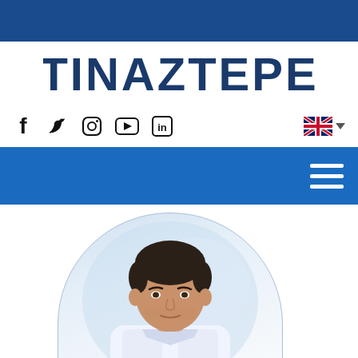[Figure (logo): Tinaztepe hospital logo - dark blue bold text on white background]
[Figure (infographic): Social media icons: Facebook (f), Twitter bird, Instagram, YouTube, LinkedIn. UK flag language selector on right.]
[Figure (photo): Doctor in white coat, male, dark short hair, looking at camera, against light blue/white background, inside rounded arch frame]